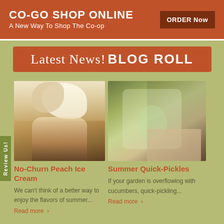CO-GO SHOP ONLINE
A New Way To Shop The Co-op
ORDER Now
Latest News! BLOG ROLL
[Figure (photo): Photo of a caramel peach ice cream float in a glass on a wooden table, topped with whipped cream]
No-Churn Peach Ice Cream
We can't think of a better way to enjoy the flavors of summer...
Read more >
[Figure (photo): Photo of a hand holding a glass jar filled with quick-pickled cucumbers and vegetables]
Summer Quick-Pickles
If your garden is overflowing with cucumbers, quick-pickling...
Read more >